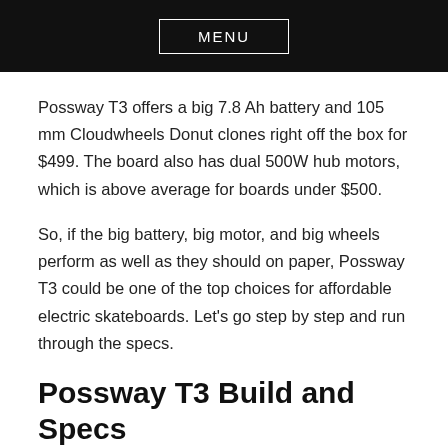MENU
Possway T3 offers a big 7.8 Ah battery and 105 mm Cloudwheels Donut clones right off the box for $499. The board also has dual 500W hub motors, which is above average for boards under $500.
So, if the big battery, big motor, and big wheels perform as well as they should on paper, Possway T3 could be one of the top choices for affordable electric skateboards. Let’s go step by step and run through the specs.
Possway T3 Build and Specs